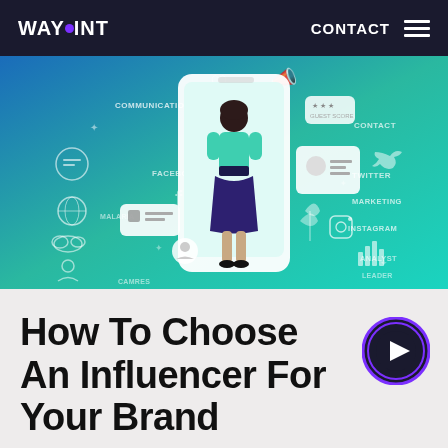WAYPOINT | CONTACT
[Figure (illustration): Colorful illustration of a woman standing inside a smartphone, surrounded by social media icons and labels (Communication, Facebook, Twitter, Instagram, Marketing, Contact) on a blue-to-teal gradient background. Icons for heart, megaphone, chat bubbles, globe, cloud, and people are scattered around.]
How To Choose An Influencer For Your Brand